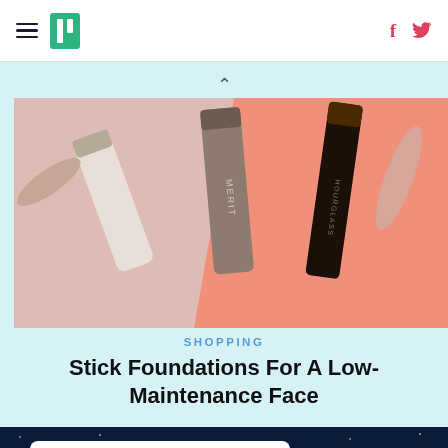HuffPost — hamburger menu, logo, Facebook and Twitter icons
[Figure (photo): Product photo of stick foundation makeup products (white stick, MERIT taupe stick, HOURGLASS dark stick) on orange and light blue background]
SHOPPING
Stick Foundations For A Low-Maintenance Face
[Figure (screenshot): Screenshot of a tweet by Stephanie Ortiz (@Six_Pack_Mom): "watching husband sleep" / Me: "I just love him so much, he's my everyth-" / *husband snores*]